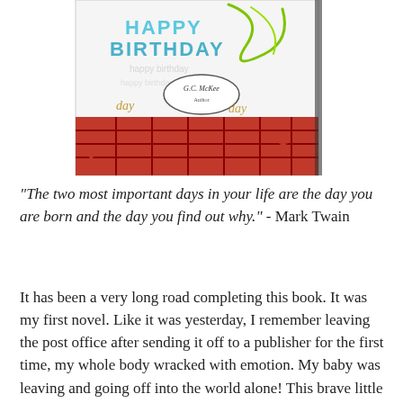[Figure (photo): A birthday card with 'Happy Birthday' text, red plaid background, green ribbons/curls, stars, and a small oval author logo reading G.C. McKee]
“The two most important days in your life are the day you are born and the day you find out why.” - Mark Twain
It has been a very long road completing this book. It was my first novel. Like it was yesterday, I remember leaving the post office after sending it off to a publisher for the first time, my whole body wracked with emotion. My baby was leaving and going off into the world alone! This brave little manuscript of